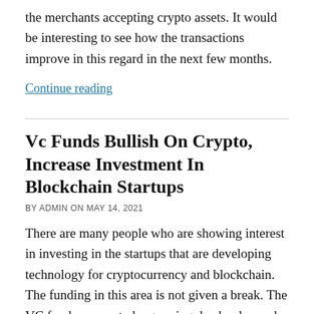the merchants accepting crypto assets. It would be interesting to see how the transactions improve in this regard in the next few months.
Continue reading
Vc Funds Bullish On Crypto, Increase Investment In Blockchain Startups
BY ADMIN ON MAY 14, 2021
There are many people who are showing interest in investing in the startups that are developing technology for cryptocurrency and blockchain. The funding in this area is not given a break. The VC funds appear to be growing day by day and gaining a huge potential. The venture capital funding for crypto and blockchain has set records in 2021. The crypto firms have got a lot of funding in 2021 when compared to 2020. There are around three companies that have got the funding of around 1.1 billion in the first quarter